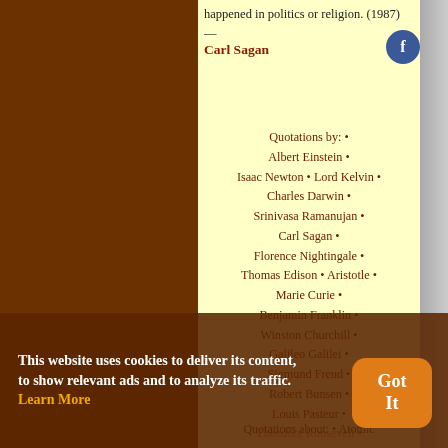happened in politics or religion. (1987) — Carl Sagan
Quotations by: • Albert Einstein • Isaac Newton • Lord Kelvin • Charles Darwin • Srinivasa Ramanujan • Carl Sagan • Florence Nightingale • Thomas Edison • Aristotle • Marie Curie • Benjamin Franklin • Winston Churchill • Galileo Galilei • Sigmund Freud • Robert Bunsen • Louis Pasteur • Theodore Roosevelt • Abraham Lincoln • Ronald Reagan • Leonardo DaVinci • Michio Kaku • Karl Popper • Johann Goethe • Robert Oppenheimer • ... (more people)
Quotations about: • Atomic
This website uses cookies to deliver its content, to show relevant ads and to analyze its traffic. Learn More